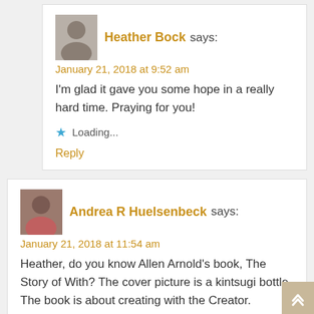Heather Bock says:
January 21, 2018 at 9:52 am
I'm glad it gave you some hope in a really hard time. Praying for you!
Loading...
Reply
Andrea R Huelsenbeck says:
January 21, 2018 at 11:54 am
Heather, do you know Allen Arnold's book, The Story of With? The cover picture is a kintsugi bottle. The book is about creating with the Creator.